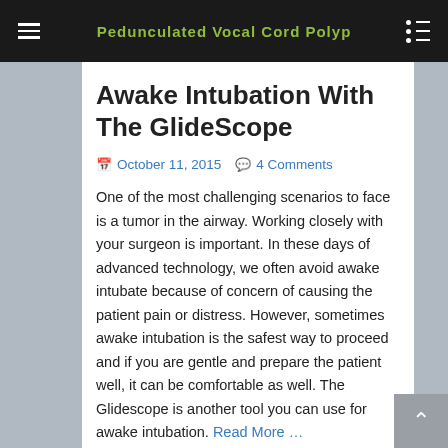Pedunculated Vocal Cord Polyp
Awake Intubation With The GlideScope
October 11, 2015   4 Comments
One of the most challenging scenarios to face is a tumor in the airway. Working closely with your surgeon is important. In these days of advanced technology, we often avoid awake intubate because of concern of causing the patient pain or distress. However, sometimes awake intubation is the safest way to proceed and if you are gentle and prepare the patient well, it can be comfortable as well. The Glidescope is another tool you can use for awake intubation. Read More …
Share this: